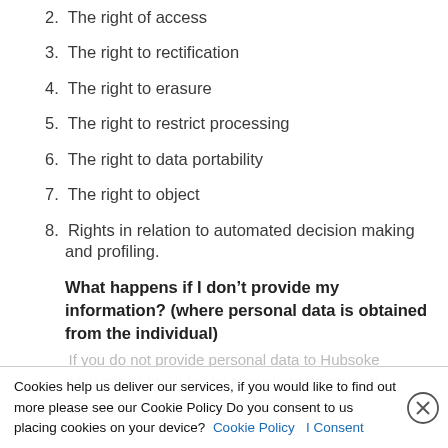2. The right of access
3. The right to rectification
4. The right to erasure
5. The right to restrict processing
6. The right to data portability
7. The right to object
8. Rights in relation to automated decision making and profiling.
What happens if I don’t provide my information? (where personal data is obtained from the individual)
If you do not provide personal data to Hubsoke Marketing Ltd, Hubsoke Marketing Ltd may not be able to deliver the
Cookies help us deliver our services, if you would like to find out more please see our Cookie Policy Do you consent to us placing cookies on your device? Cookie Policy | I Consent